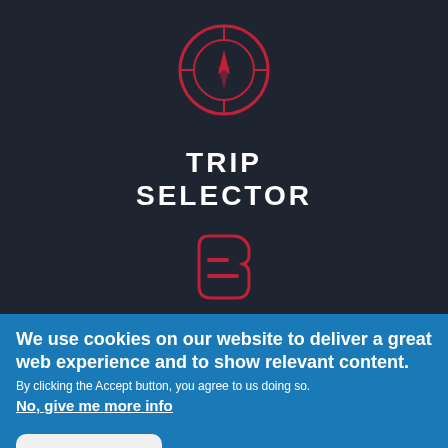[Figure (logo): Compass icon in red outline on dark background — circular design with crosshairs and compass needle]
TRIP SELECTOR
[Figure (logo): Blogger icon in red outline on dark background — rounded square shape with horizontal lines]
We use cookies on our website to deliver a great web experience and to show relevant content.
By clicking the Accept button, you agree to us doing so.
No, give me more info
OK, I agree